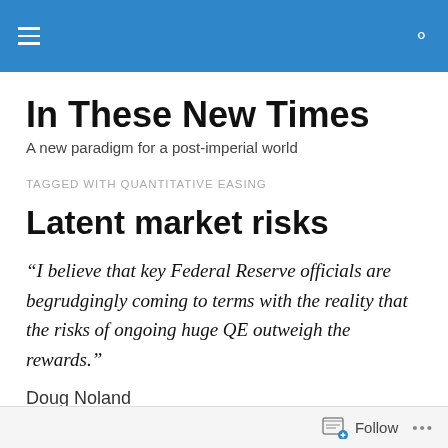In These New Times — navigation header with hamburger menu and search icon
In These New Times
A new paradigm for a post-imperial world
TAGGED WITH QUANTITATIVE EASING
Latent market risks
“I believe that key Federal Reserve officials are begrudgingly coming to terms with the reality that the risks of ongoing huge QE outweigh the rewards.”
Doug Noland
Follow …